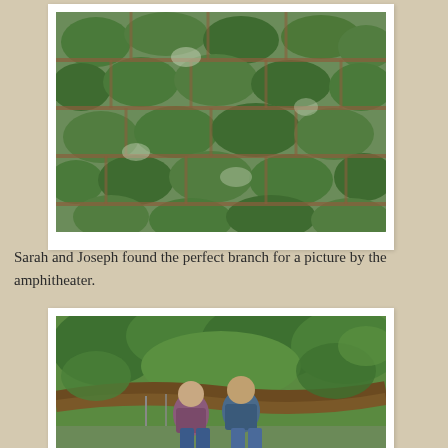[Figure (photo): Close-up photo of a mossy stone wall with green moss covering irregular stones with reddish-brown mortar between them.]
Sarah and Joseph found the perfect branch for a picture by the amphitheater.
[Figure (photo): Two people (Sarah and Joseph) sitting on a large branch near the amphitheater, with green trees and foliage behind them.]